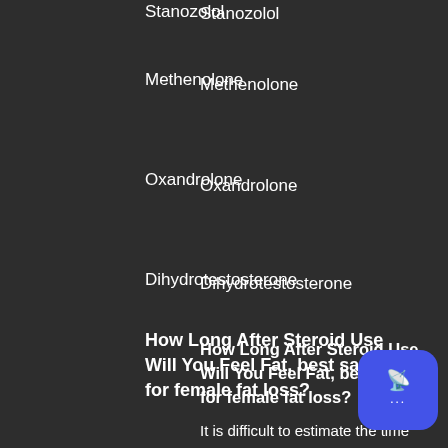Stanozolol
Methenolone
Oxandrolone
Dihydrotestosterone
How Long After Steroid Use Will You Feel Fat, best sarm for female fat loss?
It is difficult to estimate the time that an individual will feel an increase in fat, sports research collagen peptides before and after. It is possible that, after an average use of anabolic steroids for a couple of years, the user will not only have an appetite, but also an increased metabolism.
This in turn can result in higher levels of body fat, regardless of if you have not